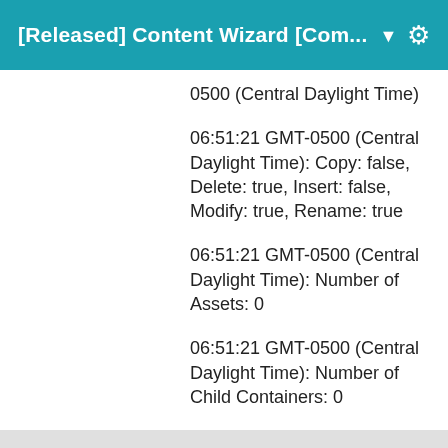[Released] Content Wizard [Com... ▼
0500 (Central Daylight Time)
06:51:21 GMT-0500 (Central Daylight Time): Copy: false, Delete: true, Insert: false, Modify: true, Rename: true
06:51:21 GMT-0500 (Central Daylight Time): Number of Assets: 0
06:51:21 GMT-0500 (Central Daylight Time): Number of Child Containers: 0
06:51:21 GMT-0500 (Central Daylight Time): There were errors during installation.